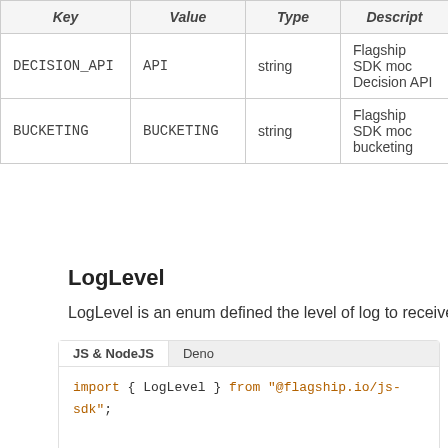| Key | Value | Type | Descript |
| --- | --- | --- | --- |
| DECISION_API | API | string | Flagship SDK mode Decision API |
| BUCKETING | BUCKETING | string | Flagship SDK mode bucketing |
LogLevel
LogLevel is an enum defined the level of log to receive
[Figure (screenshot): Code block with JS & NodeJS and Deno tabs showing: import { LogLevel } from "@flagship.io/js-sdk"; const level = LogLevel.ERROR; Flagship.start("<ENV_ID>", "<API_KEY>", { logLevel:level });]